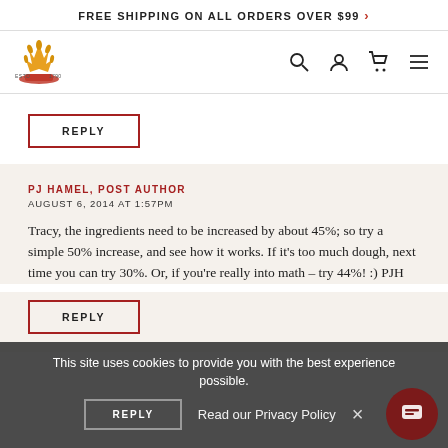FREE SHIPPING ON ALL ORDERS OVER $99 >
[Figure (logo): King Arthur Baking Company logo with crown and wheat icon, ESTD 1790]
REPLY
PJ HAMEL, POST AUTHOR
AUGUST 6, 2014 AT 1:57PM
Tracy, the ingredients need to be increased by about 45%; so try a simple 50% increase, and see how it works. If it's too much dough, next time you can try 30%. Or, if you're really into math – try 44%! :) PJH
REPLY
This site uses cookies to provide you with the best experience possible.
Read our Privacy Policy